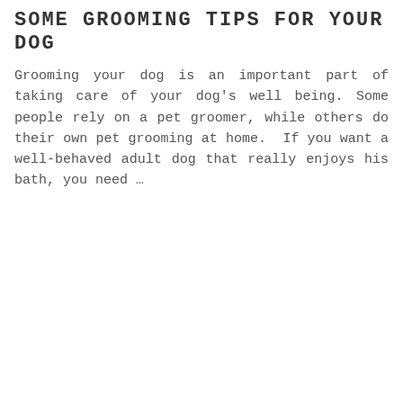SOME GROOMING TIPS FOR YOUR DOG
Grooming your dog is an important part of taking care of your dog's well being. Some people rely on a pet groomer, while others do their own pet grooming at home. If you want a well-behaved adult dog that really enjoys his bath, you need …